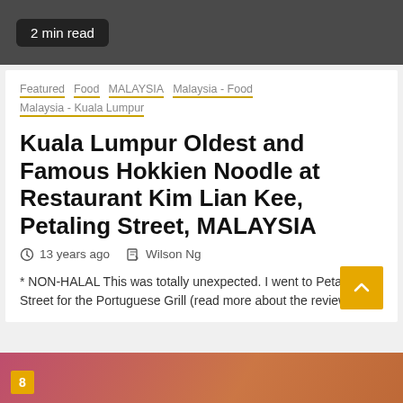2 min read
Featured  Food  MALAYSIA  Malaysia - Food  Malaysia - Kuala Lumpur
Kuala Lumpur Oldest and Famous Hokkien Noodle at Restaurant Kim Lian Kee, Petaling Street, MALAYSIA
13 years ago  Wilson Ng
* NON-HALAL This was totally unexpected. I went to Petaling Street for the Portuguese Grill (read more about the review,...
[Figure (photo): Bottom strip showing partial food photo with a yellow badge showing number 8]